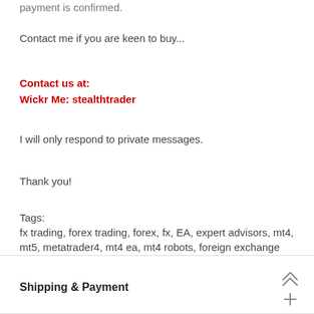payment is confirmed.
Contact me if you are keen to buy...
Contact us at:
Wickr Me: stealthtrader
I will only respond to private messages.
Thank you!
Tags:
fx trading, forex trading, forex, fx, EA, expert advisors, mt4, mt5, metatrader4, mt4 ea, mt4 robots, foreign exchange trading
Shipping & Payment